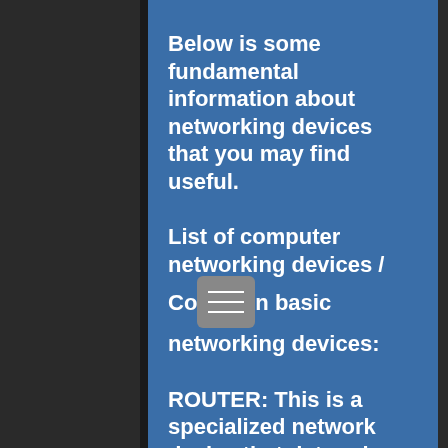Below is some fundamental information about networking devices that you may find useful.
List of computer networking devices / Common basic networking devices:
ROUTER: This is a specialized network device that determines the next network point where it can forward a data packet towards the destination of the packet.